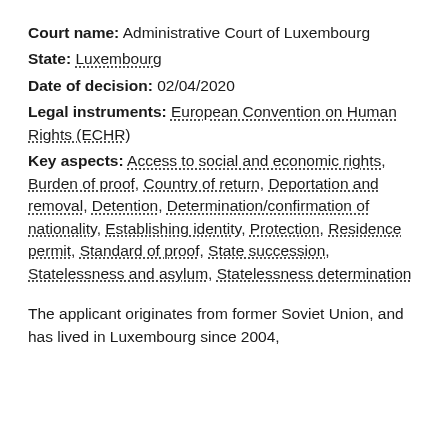Court name: Administrative Court of Luxembourg
State: Luxembourg
Date of decision: 02/04/2020
Legal instruments: European Convention on Human Rights (ECHR)
Key aspects: Access to social and economic rights, Burden of proof, Country of return, Deportation and removal, Detention, Determination/confirmation of nationality, Establishing identity, Protection, Residence permit, Standard of proof, State succession, Statelessness and asylum, Statelessness determination
The applicant originates from former Soviet Union, and has lived in Luxembourg since 2004,